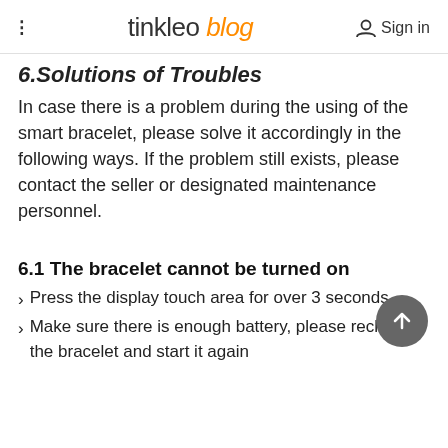tinkleo blog  Sign in
6.Solutions of Troubles
In case there is a problem during the using of the smart bracelet, please solve it accordingly in the following ways. If the problem still exists, please contact the seller or designated maintenance personnel.
6.1 The bracelet cannot be turned on
Press the display touch area for over 3 seconds
Make sure there is enough battery, please recharge the bracelet and start it again